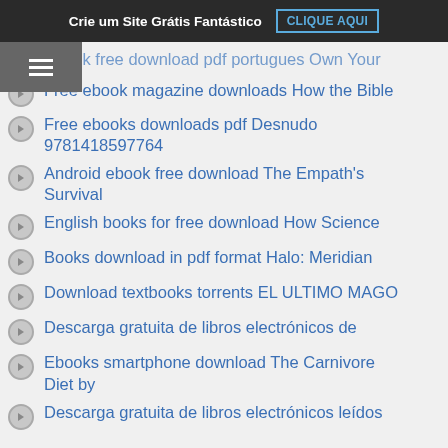Crie um Site Grátis Fantástico  CLIQUE AQUI
Ebook free download pdf portugues Own Your
Free ebook magazine downloads How the Bible
Free ebooks downloads pdf Desnudo 9781418597764
Android ebook free download The Empath's Survival
English books for free download How Science
Books download in pdf format Halo: Meridian
Download textbooks torrents EL ULTIMO MAGO
Descarga gratuita de libros electrónicos de
Ebooks smartphone download The Carnivore Diet by
Descarga gratuita de libros electrónicos leídos